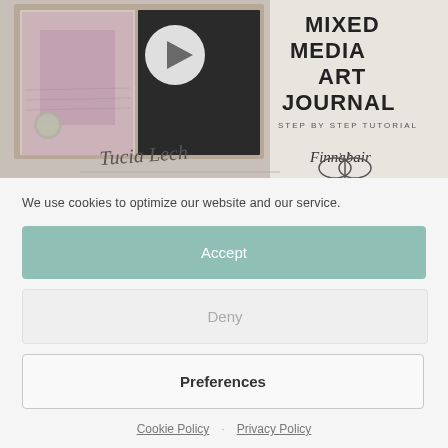[Figure (photo): Mixed Media Art Journal step by step tutorial banner image with art journal photo, play button, Tucia Lech signature, and Finnabair logo]
We use cookies to optimize our website and our service.
Accept
Deny
Preferences
Cookie Policy · Privacy Policy